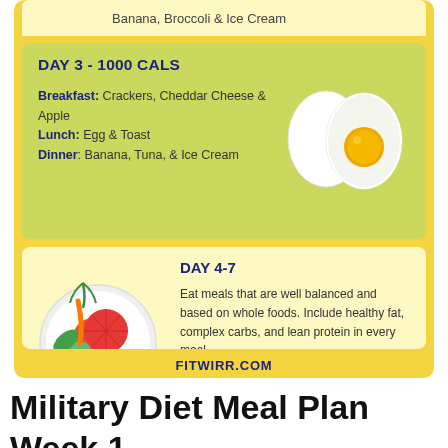Banana, Broccoli & Ice Cream
DAY 3 - 1000 CALS
Breakfast: Crackers, Cheddar Cheese & Apple
Lunch: Egg & Toast
Dinner: Banana, Tuna, & Ice Cream
[Figure (illustration): Two eggs illustration - one whole egg and one halved boiled egg showing yolk]
DAY 4-7
Eat meals that are well balanced and based on whole foods. Include healthy fat, complex carbs, and lean protein in every meal.
[Figure (illustration): Plate with tomatoes, green vegetables, and avocado illustration]
FITWIRR.COM
Military Diet Meal Plan Week 1